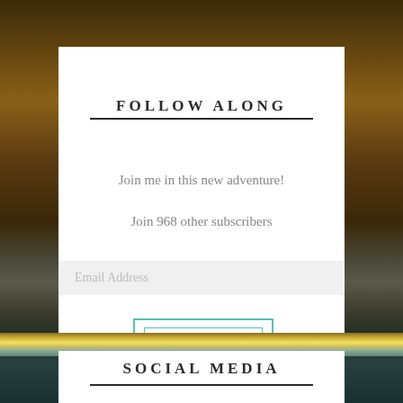FOLLOW ALONG
Join me in this new adventure!
Join 968 other subscribers
Email Address
BEGIN
SOCIAL MEDIA